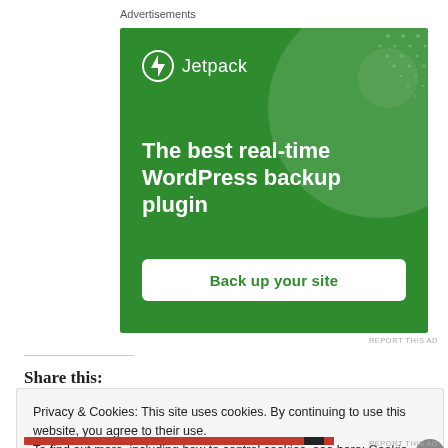Advertisements
[Figure (illustration): Jetpack advertisement banner with green background showing 'The best real-time WordPress backup plugin' and a 'Back up your site' button]
REPORT THIS AD
Share this:
Privacy & Cookies: This site uses cookies. By continuing to use this website, you agree to their use.
To find out more, including how to control cookies, see here: Cookie Policy
Close and accept